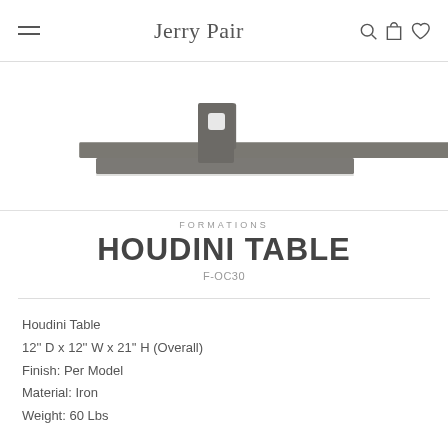Jerry Pair
[Figure (photo): Product photo of the Houdini Table — a flat rectangular dark metal tabletop with a central sculptural iron base/pedestal viewed from the side, on a white background.]
FORMATIONS
HOUDINI TABLE
F-OC30
Houdini Table
12'' D x 12'' W x 21'' H (Overall)
Finish: Per Model
Material: Iron
Weight: 60 Lbs